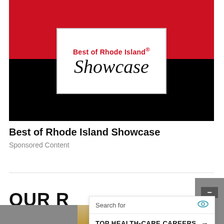[Figure (illustration): Best of Rhode Island Showcase banner with red top half and black bottom half, containing a white logo box with 'Best of Rhode Island® Showcase' in serif italic text]
Best of Rhode Island Showcase
Sponsored Content
OUR R
[Figure (screenshot): Search overlay showing 'Search for' label with eye icon, and result row 'TOP HEALTH-CARE CAREERS' with arrow]